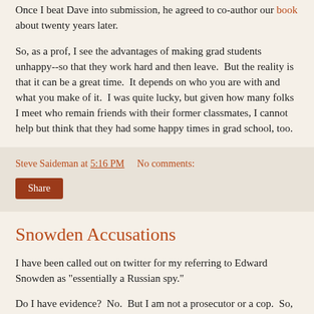Once I beat Dave into submission, he agreed to co-author our book about twenty years later.
So, as a prof, I see the advantages of making grad students unhappy--so that they work hard and then leave.  But the reality is that it can be a great time.  It depends on who you are with and what you make of it.  I was quite lucky, but given how many folks I meet who remain friends with their former classmates, I cannot help but think that they had some happy times in grad school, too.
Steve Saideman at 5:16 PM   No comments:
Share
Snowden Accusations
I have been called out on twitter for my referring to Edward Snowden as "essentially a Russian spy."
Do I have evidence?  No.  But I am not a prosecutor or a cop.  So, when I say such stuff, I am offering my opinions.  Based on what?